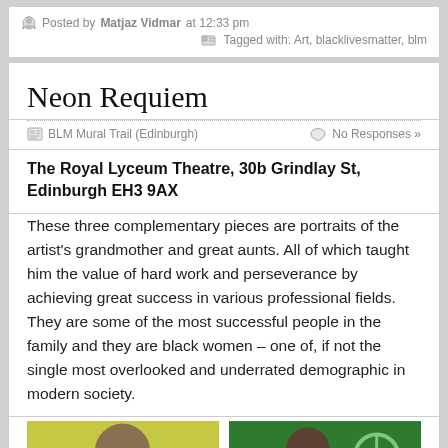Posted by Matjaz Vidmar at 12:33 pm
Tagged with: Art, blacklivesmatter, blm
Neon Requiem
BLM Mural Trail (Edinburgh)   No Responses »
The Royal Lyceum Theatre, 30b Grindlay St, Edinburgh EH3 9AX
These three complementary pieces are portraits of the artist's grandmother and great aunts. All of which taught him the value of hard work and perseverance by achieving great success in various professional fields. They are some of the most successful people in the family and they are black women – one of, if not the single most overlooked and underrated demographic in modern society.
[Figure (photo): Two photographs side by side: left shows a person with colourful background (yellow/green tones), right shows a person against a green background with a peace symbol]